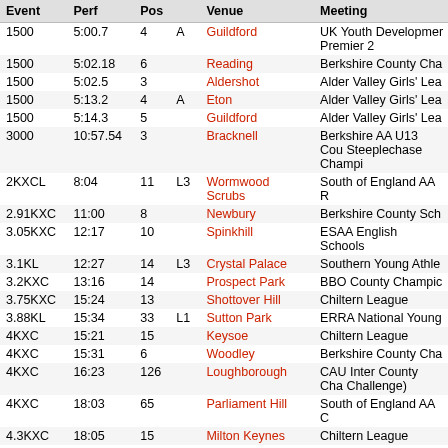| Event | Perf | Pos |  | Venue | Meeting |
| --- | --- | --- | --- | --- | --- |
| 1500 | 5:00.7 | 4 | A | Guildford | UK Youth Development Premier 2 |
| 1500 | 5:02.18 | 6 |  | Reading | Berkshire County Cha |
| 1500 | 5:02.5 | 3 |  | Aldershot | Alder Valley Girls' Lea |
| 1500 | 5:13.2 | 4 | A | Eton | Alder Valley Girls' Lea |
| 1500 | 5:14.3 | 5 |  | Guildford | Alder Valley Girls' Lea |
| 3000 | 10:57.54 | 3 |  | Bracknell | Berkshire AA U13 Cou Steeplechase Champi |
| 2KXCL | 8:04 | 11 | L3 | Wormwood Scrubs | South of England AA R |
| 2.91KXC | 11:00 | 8 |  | Newbury | Berkshire County Sch |
| 3.05KXC | 12:17 | 10 |  | Spinkhill | ESAA English Schools |
| 3.1KL | 12:27 | 14 | L3 | Crystal Palace | Southern Young Athle |
| 3.2KXC | 13:16 | 14 |  | Prospect Park | BBO County Champic |
| 3.75KXC | 15:24 | 13 |  | Shottover Hill | Chiltern League |
| 3.88KL | 15:34 | 33 | L1 | Sutton Park | ERRA National Young |
| 4KXC | 15:21 | 15 |  | Keysoe | Chiltern League |
| 4KXC | 15:31 | 6 |  | Woodley | Berkshire County Cha |
| 4KXC | 16:23 | 126 |  | Loughborough | CAU Inter County Cha Challenge) |
| 4KXC | 18:03 | 65 |  | Parliament Hill | South of England AA C |
| 4.3KXC | 18:05 | 15 |  | Milton Keynes | Chiltern League |
| ZXC | 13:45 | 3 |  | Taunton | ESAA English Schools |
| 2018 U15 Bracknell AC |  |  |  |  |  |
| Event | Perf | Pos |  | Venue | Meeting |
| 800 | 2:45.0 | P |  | Reading | Berkshire Schools Ch |